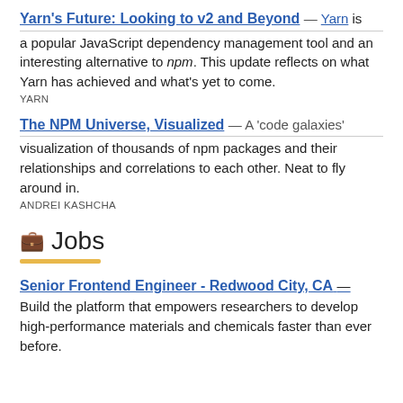Yarn's Future: Looking to v2 and Beyond — Yarn is a popular JavaScript dependency management tool and an interesting alternative to npm. This update reflects on what Yarn has achieved and what's yet to come.
YARN
The NPM Universe, Visualized — A 'code galaxies' visualization of thousands of npm packages and their relationships and correlations to each other. Neat to fly around in.
ANDREI KASHCHA
💼 Jobs
Senior Frontend Engineer - Redwood City, CA — Build the platform that empowers researchers to develop high-performance materials and chemicals faster than ever before.